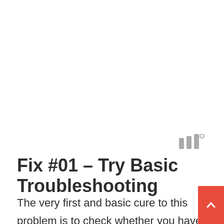[Figure (other): Gray signal/bars icon with a degree symbol, resembling a stylized wireless or media icon]
Fix #01 – Try Basic Troubleshooting
The very first and basic cure to this problem is to check whether you have a stable internet connection or not. If you are playing your game one a wireless connection, then try playing it with an